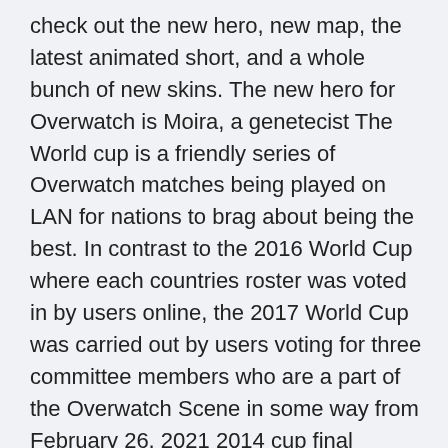check out the new hero, new map, the latest animated short, and a whole bunch of new skins. The new hero for Overwatch is Moira, a genetecist The World cup is a friendly series of Overwatch matches being played on LAN for nations to brag about being the best. In contrast to the 2016 World Cup where each countries roster was voted in by users online, the 2017 World Cup was carried out by users voting for three committee members who are a part of the Overwatch Scene in some way from February 26, 2021 2014 cup final football live match world Football World Cup 2014 Final Match Live Wednesday, February 24, 2021 2015 cricket cup in to usa watch where world Please note: these shit cartoons are not made for kids in anyway. They contain swearing, cartoon violence and non-children themes How did France and Croati Stream live sports,